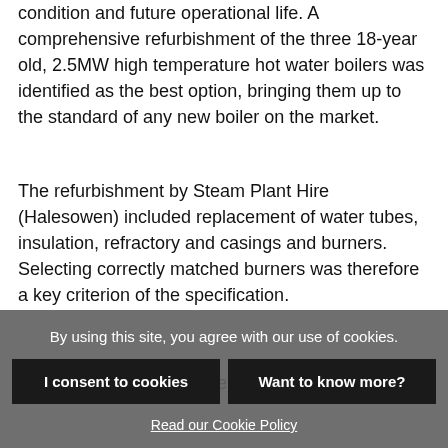condition and future operational life. A comprehensive refurbishment of the three 18-year old, 2.5MW high temperature hot water boilers was identified as the best option, bringing them up to the standard of any new boiler on the market.
The refurbishment by Steam Plant Hire (Halesowen) included replacement of water tubes, insulation, refractory and casings and burners. Selecting correctly matched burners was therefore a key criterion of the specification.
Three burner manufacturers were invited to tender for
By using this site, you agree with our use of cookies.
I consent to cookies
Want to know more?
Read our Cookie Policy